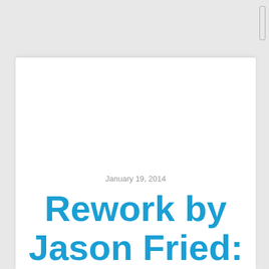January 19, 2014
Rework by Jason Fried: